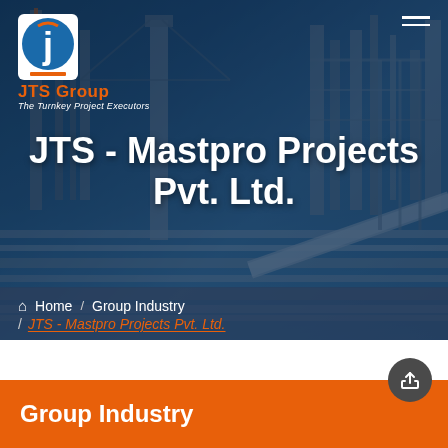[Figure (photo): Industrial facility/refinery background photo showing pipes, tanks, and industrial structures with blue-toned overlay]
JTS - Mastpro Projects Pvt. Ltd.
Home / Group Industry / JTS - Mastpro Projects Pvt. Ltd.
Group Industry